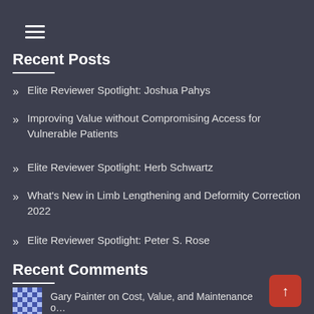≡
Recent Posts
Elite Reviewer Spotlight: Joshua Pahys
Improving Value without Compromising Access for Vulnerable Patients
Elite Reviewer Spotlight: Herb Schwartz
What's New in Limb Lengthening and Deformity Correction 2022
Elite Reviewer Spotlight: Peter S. Rose
Recent Comments
Gary Painter on Cost, Value, and Maintenance o…